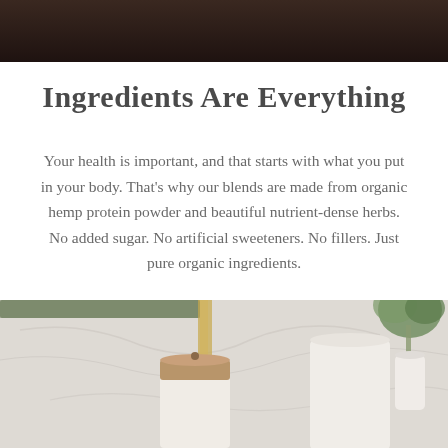[Figure (photo): Dark brown background photo at top of page, partially visible kitchen or food preparation scene]
Ingredients Are Everything
Your health is important, and that starts with what you put in your body. That’s why our blends are made from organic hemp protein powder and beautiful nutrient-dense herbs. No added sugar. No artificial sweeteners. No fillers. Just pure organic ingredients.
[Figure (photo): Bottom photo showing marble counter with ceramic canisters, a liquid being poured, and green plant in background]